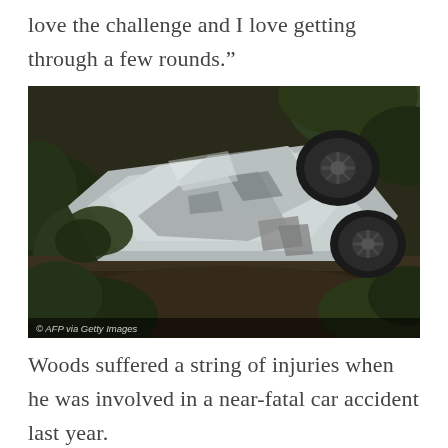love the challenge and I love getting through a few rounds.”
[Figure (photo): Overturned silver SUV lying on its side among shrubs and vegetation, with tires visible and crumpled body panels. Photo credit: AFP via Getty Images]
Woods suffered a string of injuries when he was involved in a near-fatal car accident last year.